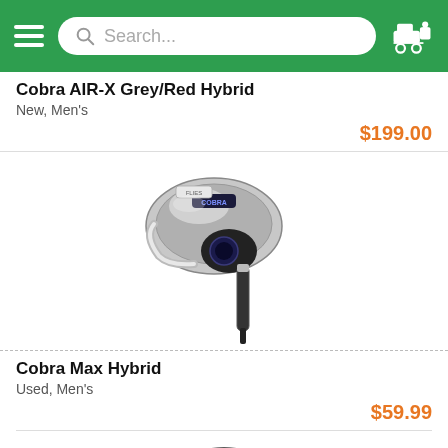Search...
Cobra AIR-X Grey/Red Hybrid
New, Men's
$199.00
[Figure (photo): Cobra hybrid golf club head, silver and black, viewed from above at an angle, with Cobra branding and a black hosel]
Cobra Max Hybrid
Used, Men's
$59.99
[Figure (photo): Partial view of a Cobra King hybrid golf club head, dark/charcoal color with blue accents, partially cropped at bottom of page]